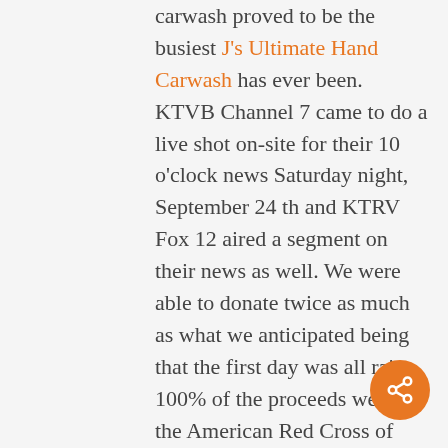carwash proved to be the busiest J's Ultimate Hand Carwash has ever been. KTVB Channel 7 came to do a live shot on-site for their 10 o'clock news Saturday night, September 24 th and KTRV Fox 12 aired a segment on their news as well. We were able to donate twice as much as what we anticipated being that the first day was all rain. 100% of the proceeds went to the American Red Cross of Greater Idaho to help supplement the Idaho Disaster Relief Fund. Peppershock Media produced the PSA that aired on KTVB Channel 7 and KNIN Channel 9.  Also, Paul J. Schneider did an excellent job promoting the event on KBOI – AM radio.  We also want to say a huge thank you to all those who helped out for such a great cause: International